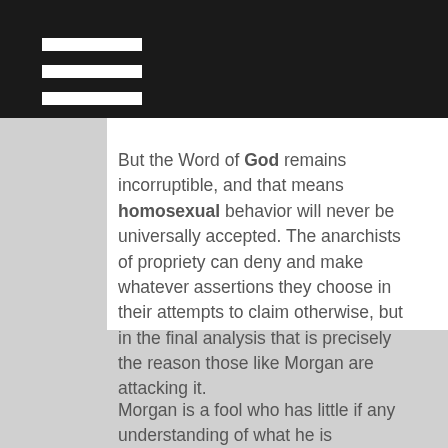≡
But the Word of God remains incorruptible, and that means homosexual behavior will never be universally accepted. The anarchists of propriety can deny and make whatever assertions they choose in their attempts to claim otherwise, but in the final analysis that is precisely the reason those like Morgan are attacking it.
Morgan is a fool who has little if any understanding of what he is